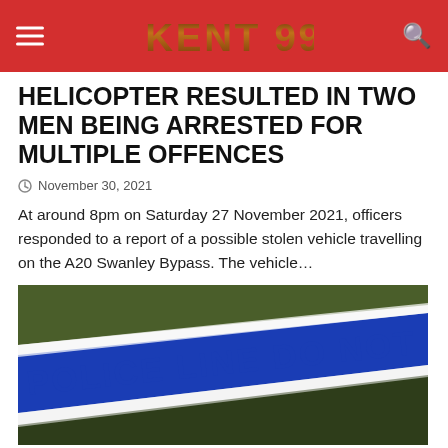KENT 999
HELICOPTER RESULTED IN TWO MEN BEING ARRESTED FOR MULTIPLE OFFENCES
November 30, 2021
At around 8pm on Saturday 27 November 2021, officers responded to a report of a possible stolen vehicle travelling on the A20 Swanley Bypass. The vehicle…
[Figure (photo): Police line do not cross tape stretched diagonally across the frame in blue and white, with green foliage in the background]